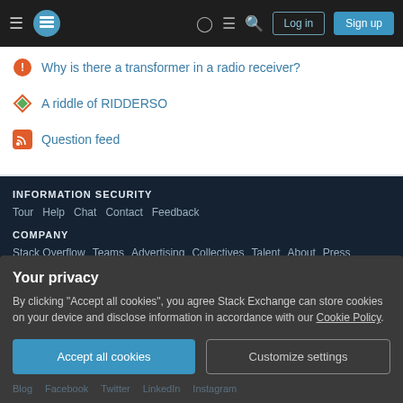Stack Exchange navigation bar with Log in and Sign up buttons
Why is there a transformer in a radio receiver?
A riddle of RIDDERSO
Question feed
INFORMATION SECURITY
Tour  Help  Chat  Contact  Feedback
COMPANY
Stack Overflow  Teams  Advertising  Collectives  Talent  About  Press
Legal  Privacy Policy  Terms of Service  Cookie Settings  Cookie Policy
Your privacy
By clicking "Accept all cookies", you agree Stack Exchange can store cookies on your device and disclose information in accordance with our Cookie Policy.
Accept all cookies  Customize settings
Blog  Facebook  Twitter  LinkedIn  Instagram